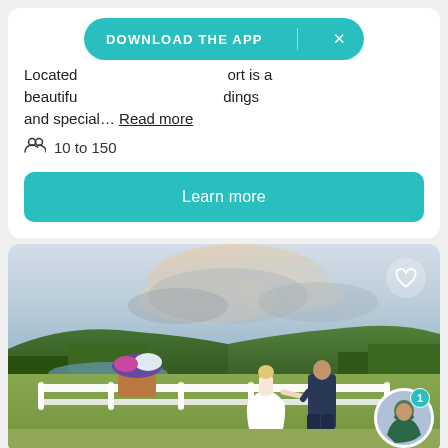Located ... ort is a beautiful ... dings and special... Read more
10 to 150
Learn more
DOWNLOAD THE APP
[Figure (photo): Wedding couple standing on a white railing balcony overlooking a scenic landscape with a lake, green hills, and a dramatic cloudy sunset sky. A flower arrangement is in the foreground. A heart icon is in the upper right. An avatar with notification badge is in the lower right.]